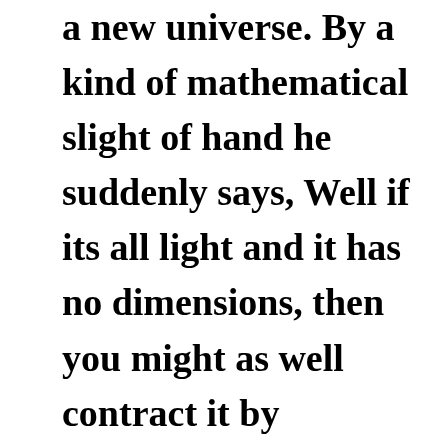a new universe. By a kind of mathematical slight of hand he suddenly says, Well if its all light and it has no dimensions, then you might as well contract it by thousands of